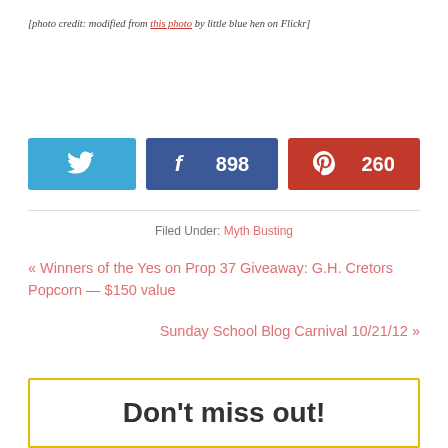[photo credit: modified from this photo by little blue hen on Flickr]
[Figure (infographic): Social share buttons: Twitter (blue), Facebook with count 898 (dark blue), Pinterest with count 260 (red)]
Filed Under: Myth Busting
« Winners of the Yes on Prop 37 Giveaway: G.H. Cretors Popcorn — $150 value
Sunday School Blog Carnival 10/21/12 »
Don't miss out!